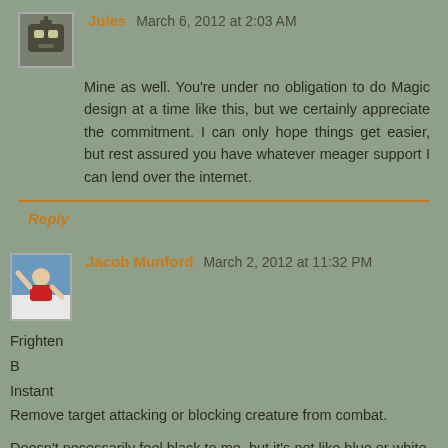Jules  March 6, 2012 at 2:03 AM
Mine as well. You're under no obligation to do Magic design at a time like this, but we certainly appreciate the commitment. I can only hope things get easier, but rest assured you have whatever meager support I can lend over the internet.
Reply
Jacob Munford  March 2, 2012 at 11:32 PM
Frighten
B
Instant
Remove target attacking or blocking creature from combat.
Doesn't necessarily feel black to me, but it's not like blue or white need more ways to deal with creatures...